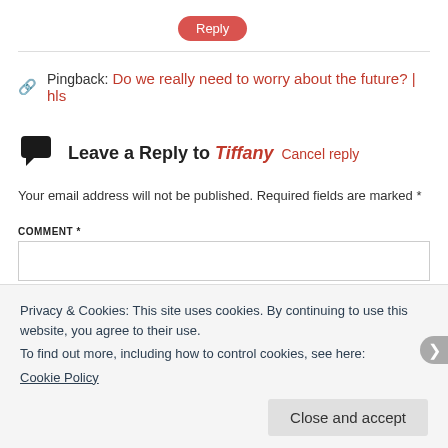Reply
Pingback: Do we really need to worry about the future? | hls
Leave a Reply to Tiffany Cancel reply
Your email address will not be published. Required fields are marked *
COMMENT *
Privacy & Cookies: This site uses cookies. By continuing to use this website, you agree to their use.
To find out more, including how to control cookies, see here:
Cookie Policy
Close and accept